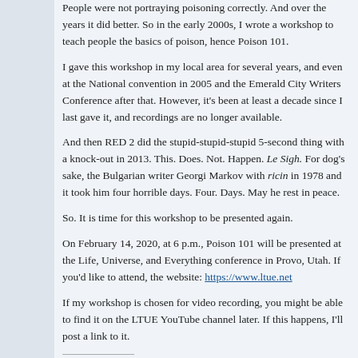People were not portraying poisoning correctly. And over the years it did better. So in the early 2000s, I wrote a workshop to teach people the basics of poison, hence Poison 101.
I gave this workshop in my local area for several years, and even at the National convention in 2005 and the Emerald City Writers Conference after that. However, it's been at least a decade since I last gave it, and recordings are no longer available.
And then RED 2 did the stupid-stupid-stupid 5-second thing with a knock-out in 2013. This. Does. Not. Happen. Le Sigh. For dog's sake, the Bulgarian writer Georgi Markov with ricin in 1978 and it took him four horrible days. Four. Days. May he rest in peace.
So. It is time for this workshop to be presented again.
On February 14, 2020, at 6 p.m., Poison 101 will be presented at the Life, Universe, and Everything conference in Provo, Utah. If you'd like to attend, the website: https://www.ltue.net
If my workshop is chosen for video recording, you might be able to find it on the LTUE YouTube channel later. If this happens, I'll post a link to it.